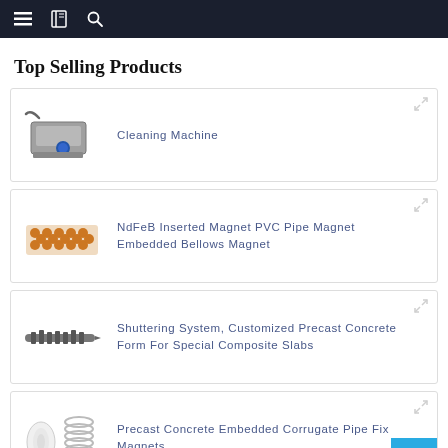Navigation bar with menu, bookmarks, and search icons
Top Selling Products
Cleaning Machine
NdFeB Inserted Magnet PVC Pipe Magnet Embedded Bellows Magnet
Shuttering System, Customized Precast Concrete Form For Special Composite Slabs
Precast Concrete Embedded Corrugate Pipe Fix Magnets